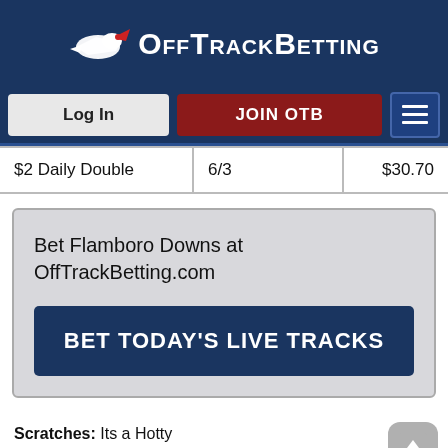[Figure (logo): OffTrackBetting logo with horse graphic and text]
[Figure (screenshot): Navigation bar with Log In button, JOIN OTB button, and hamburger menu]
| $2 Daily Double | 6/3 | $30.70 |
Bet Flamboro Downs at OffTrackBetting.com
BET TODAY'S LIVE TRACKS
Scratches: Its a Hotty
Purse: $5,000 Distance: ONE MILE